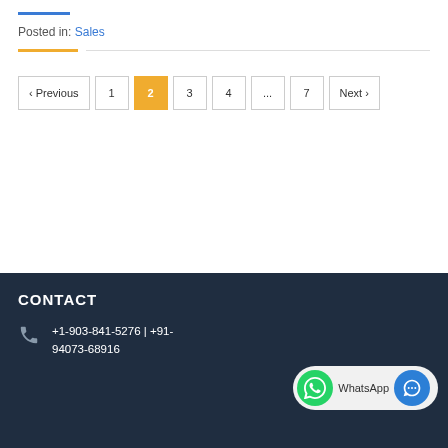Posted in: Sales
< Previous  1  2  3  4  ...  7  Next >
CONTACT
+1-903-841-5276 | +91-94073-68916
WhatsApp